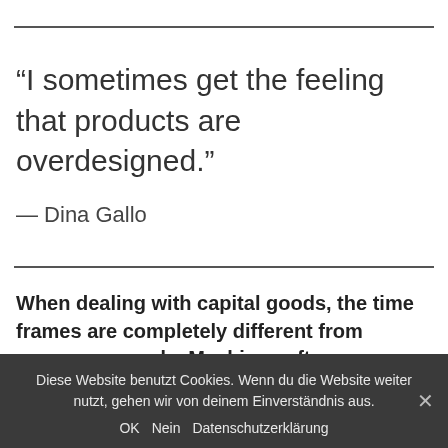“I sometimes get the feeling that products are overdesigned.”
— Dina Gallo
When dealing with capital goods, the time frames are completely different from consumer goods. Machines often
Diese Website benutzt Cookies. Wenn du die Website weiter nutzt, gehen wir von deinem Einverständnis aus. OK Nein Datenschutzerklärung